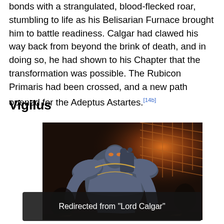bonds with a strangulated, blood-flecked roar, stumbling to life as his Belisarian Furnace brought him to battle readiness. Calgar had clawed his way back from beyond the brink of death, and in doing so, he had shown to his Chapter that the transformation was possible. The Rubicon Primaris had been crossed, and a new path opened for the Adeptus Astartes.[14b]
Vigilus
[Figure (illustration): Fantasy illustration showing a large armored Space Marine warrior in blue-grey power armor with golden trim, standing in a dark industrial or cathedral-like environment with orange glowing light through metal grating in the background. Other figures visible in the shadows around him.]
Redirected from "Lord Calgar"